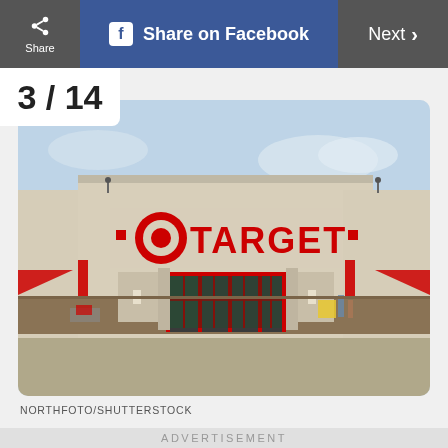Share | Share on Facebook | Next >
3/14
[Figure (photo): Exterior photograph of a Target retail store showing the red TARGET logo with bullseye icon on a beige/cream brick facade, large red-framed entrance doors with glass windows, parking lot in foreground, clear sky background.]
NORTHFOTO/SHUTTERSTOCK
ADVERTISEMENT